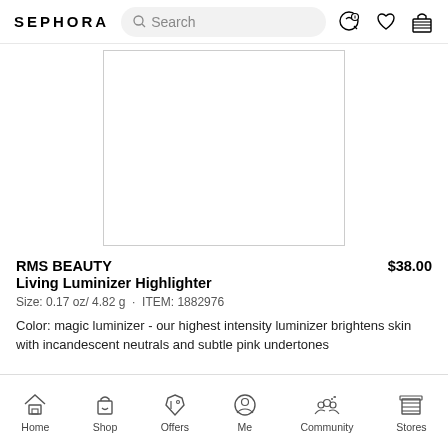SEPHORA
[Figure (screenshot): Product image area - white/blank product image box with border]
RMS BEAUTY $38.00 Living Luminizer Highlighter Size: 0.17 oz/ 4.82 g · ITEM: 1882976 Color: magic luminizer - our highest intensity luminizer brightens skin with incandescent neutrals and subtle pink undertones
Home Shop Offers Me Community Stores